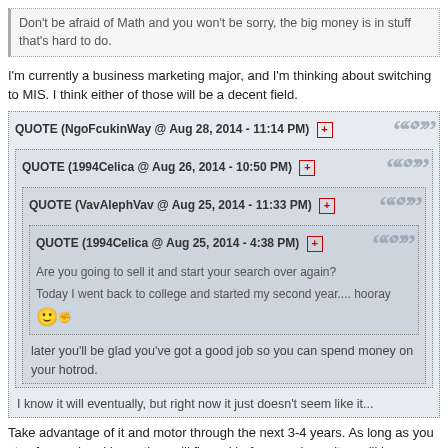Don't be afraid of Math and you won't be sorry, the big money is in stuff that's hard to do.
I'm currently a business marketing major, and I'm thinking about switching to MIS. I think either of those will be a decent field.
QUOTE (NgoFcukinWay @ Aug 28, 2014 - 11:14 PM) [+]
  QUOTE (1994Celica @ Aug 26, 2014 - 10:50 PM) [+]
    QUOTE (VavAlephVav @ Aug 25, 2014 - 11:33 PM) [+]
      QUOTE (1994Celica @ Aug 25, 2014 - 4:38 PM) [+]
        Are you going to sell it and start your search over again?
        Today I went back to college and started my second year.... hooray :)
      later you'll be glad you've got a good job so you can spend money on your hotrod.
  I know it will eventually, but right now it just doesn't seem like it...
Take advantage of it and motor through the next 3-4 years. As long as you stay focused and busy, time will fly and before you know it, you'll be